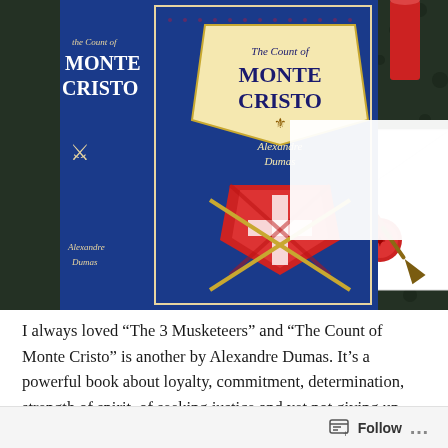[Figure (photo): A photo of The Count of Monte Cristo book by Alexandre Dumas with a decorative blue and red cover, alongside a white envelope with a red wax seal and a red quill pen, on a dark lace background.]
I always loved “The 3 Musketeers” and “The Count of Monte Cristo” is another by Alexandre Dumas. It’s a powerful book about loyalty, commitment, determination, strength of spirit, of seeking justice and yet not giving up hope. And along with that, if you like sword fights, revenge, disguises, deception, then it’s
Follow ...